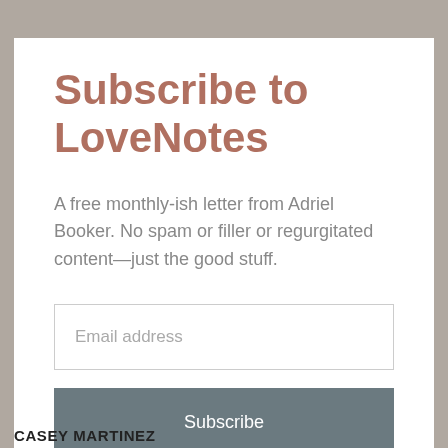Subscribe to LoveNotes
A free monthly-ish letter from Adriel Booker. No spam or filler or regurgitated content—just the good stuff.
Email address
Subscribe
CASEY MARTINEZ